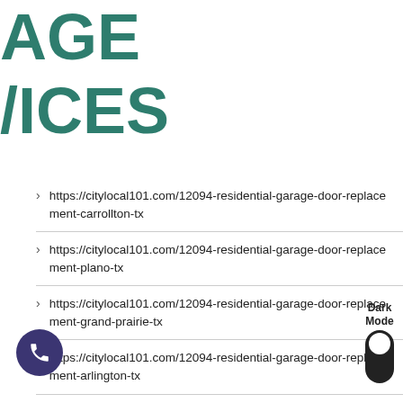AGE /ICES
https://citylocal101.com/12094-residential-garage-door-replacement-carrollton-tx
https://citylocal101.com/12094-residential-garage-door-replacement-plano-tx
https://citylocal101.com/12094-residential-garage-door-replacement-grand-prairie-tx
https://citylocal101.com/12094-residential-garage-door-replacement-arlington-tx
https://citylocal101.com/12094-residential-garage-door-replacement-desoto-tx
https://citylocal101.com/12094-commercial-garage-door-repair-irving-tx
https://citylocal101.com/12094-commercial-garage-door-repair-carrollton-tx
https://citylocal101.com/12094-commercial-garage-door-repair-